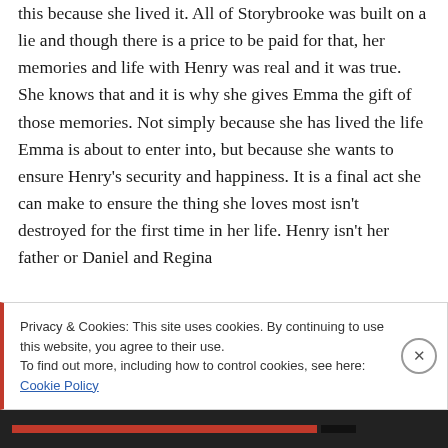this because she lived it. All of Storybrooke was built on a lie and though there is a price to be paid for that, her memories and life with Henry was real and it was true. She knows that and it is why she gives Emma the gift of those memories. Not simply because she has lived the life Emma is about to enter into, but because she wants to ensure Henry's security and happiness. It is a final act she can make to ensure the thing she loves most isn't destroyed for the first time in her life. Henry isn't her father or Daniel and Regina
Privacy & Cookies: This site uses cookies. By continuing to use this website, you agree to their use.
To find out more, including how to control cookies, see here: Cookie Policy
Close and accept